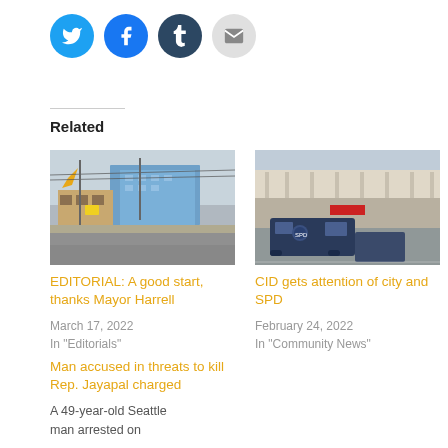[Figure (other): Social share buttons: Twitter (blue circle), Facebook (blue circle), Tumblr (dark navy circle), Email (light gray circle)]
Related
[Figure (photo): Street scene with urban buildings, yellow kite/banner visible, power lines, Seattle neighborhood]
EDITORIAL: A good start, thanks Mayor Harrell
March 17, 2022
In "Editorials"
[Figure (photo): Parking lot with police van/SUV parked in front of a two-story commercial building]
CID gets attention of city and SPD
February 24, 2022
In "Community News"
Man accused in threats to kill Rep. Jayapal charged
A 49-year-old Seattle man arrested on